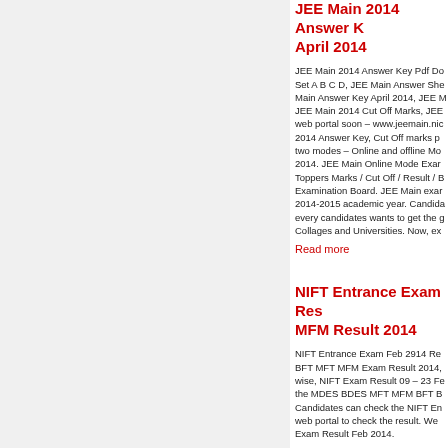JEE Main 2014 Answer K... April 2014
JEE Main 2014 Answer Key Pdf Do... Set A B C D, JEE Main Answer She... Main Answer Key April 2014, JEE M... JEE Main 2014 Cut Off Marks, JEE... web portal soon – www.jeemain.nic... 2014 Answer Key, Cut Off marks p... two modes – Online and offline Mo... 2014. JEE Main Online Mode Exa... Toppers Marks / Cut Off / Result / B... Examination Board. JEE Main exa... 2014-2015 academic year. Candid... every candidates wants to get the c... Collages and Universities. Now, ex...
Read more
NIFT Entrance Exam Res... MFM Result 2014
NIFT Entrance Exam Feb 2914 Re... BFT MFT MFM Exam Result 2014,... wise, NIFT Exam Result 09 – 23 Fe... the MDES BDES MFT MFM BFT B... Candidates can check the NIFT En... web portal to check the result. We... Exam Result Feb 2014.
Read more